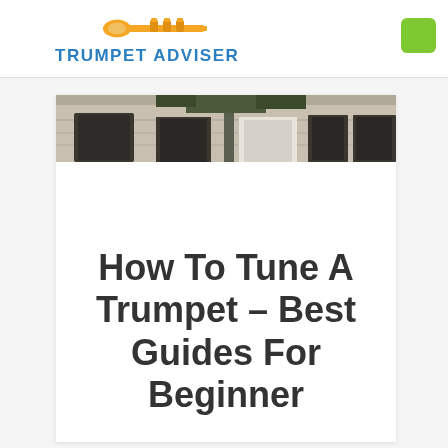TRUMPET ADVISER
[Figure (photo): Exterior of an old stone building with arched windows and doors, used as the header image for the article.]
How To Tune A Trumpet – Best Guides For Beginner